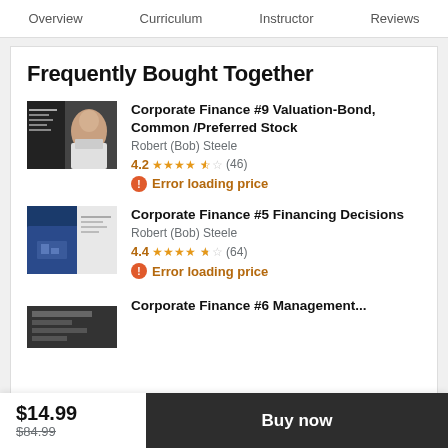Overview   Curriculum   Instructor   Reviews
Frequently Bought Together
Corporate Finance #9 Valuation-Bond, Common /Preferred Stock
Robert (Bob) Steele
4.2 ★★★★☆ (46)
⊕ Error loading price
Corporate Finance #5 Financing Decisions
Robert (Bob) Steele
4.4 ★★★★½ (64)
⊕ Error loading price
Corporate Finance #6 Management...
$14.99
$84.99
Buy now